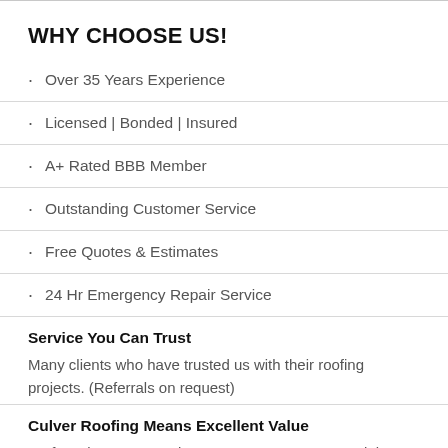WHY CHOOSE US!
Over 35 Years Experience
Licensed | Bonded | Insured
A+ Rated BBB Member
Outstanding Customer Service
Free Quotes & Estimates
24 Hr Emergency Repair Service
Service You Can Trust
Many clients who have trusted us with their roofing projects. (Referrals on request)
Culver Roofing Means Excellent Value
Preferred Owens Corning Contractor & GAF Materials